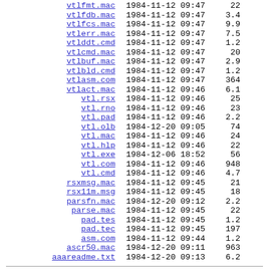vtlfmt.mac  1984-11-12 09:47  22
vtlfdb.mac  1984-11-12 09:47  3.4
vtlfcs.mac  1984-11-12 09:47  9.9
vtlerr.mac  1984-11-12 09:47  7.5
vtlddt.cmd  1984-11-12 09:47  1.2
vtlcmd.mac  1984-11-12 09:47  20
vtlbuf.mac  1984-11-12 09:47  2.9
vtlbld.cmd  1984-11-12 09:47  1.2
vtlasm.com  1984-11-12 09:47  364
vtlact.mac  1984-11-12 09:46  6.1
vtl.rsx  1984-11-12 09:46  25
vtl.rno  1984-11-12 09:46  23
vtl.pad  1984-11-12 09:46  2.2
vtl.olb  1984-12-20 09:05  74
vtl.mac  1984-11-12 09:46  24
vtl.hlp  1984-11-12 09:46  22
vtl.exe  1984-12-06 18:52  56
vtl.com  1984-11-12 09:46  948
vtl.cmd  1984-11-12 09:46  4.7
rsxmsg.mac  1984-11-12 09:45  21
rsx11m.msg  1984-11-12 09:45  18
parsfn.mac  1984-12-20 09:12  2.2
parse.mac  1984-11-12 09:45  22
pad.tes  1984-11-12 09:45  1.2
pad.tec  1984-11-12 09:45  197
asm.com  1984-11-12 09:44  1.2
ascr50.mac  1984-12-20 09:11  963
aaareadme.txt  1984-12-20 09:13  6.2